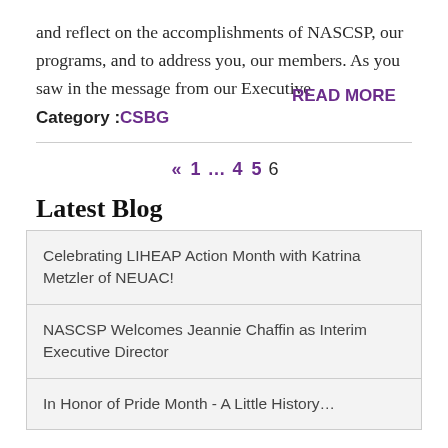and reflect on the accomplishments of NASCSP, our programs, and to address you, our members.  As you saw in the message from our Executive
Category : CSBG READ MORE
« 1 … 4 5 6
Latest Blog
Celebrating LIHEAP Action Month with Katrina Metzler of NEUAC!
NASCSP Welcomes Jeannie Chaffin as Interim Executive Director
In Honor of Pride Month - A Little History…